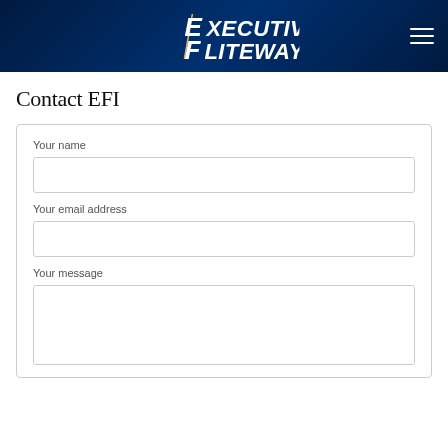Executive Fliteways
Contact EFI
Your name
Your email address
Your message